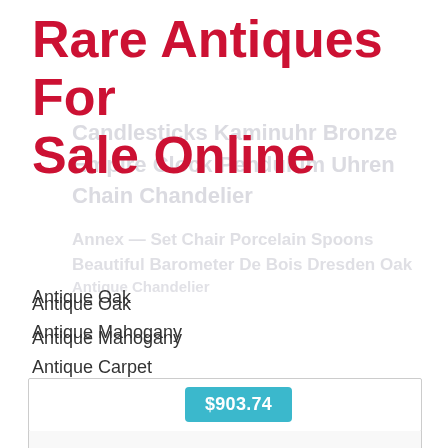Rare Antiques For Sale Online
Antique Oak
Antique Mahogany
Antique Carpet
Antique Painting
Antique Glass
Antique Plate
$903.74